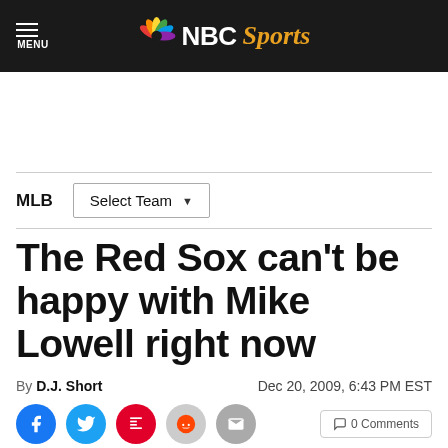MENU | NBC Sports
MLB | Select Team
The Red Sox can't be happy with Mike Lowell right now
By D.J. Short    Dec 20, 2009, 6:43 PM EST
[Figure (infographic): Social sharing icons row: Facebook, Twitter, Flipboard, Reddit, Email, and Comments button]